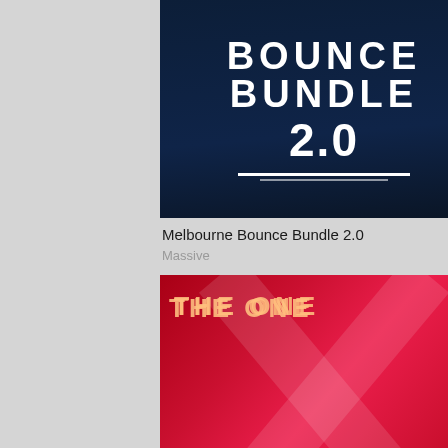[Figure (illustration): Melbourne Bounce Bundle 2.0 product thumbnail image with dark blue background and large white bold text]
Melbourne Bounce Bundle 2.0
Massive
[Figure (illustration): THE ONE: EDM Buildups product thumbnail with red abstract background, showing text THE ONE, EDM BUILDUPS, MASSIVE PRESETS]
THE ONE: EDM Buildups
Massive
[Figure (illustration): THE ONE Mainstage EDM V.3 product thumbnail with dark green/purple background, showing MAINSTAGE EDM V.3 and SYLENTH PRESETS]